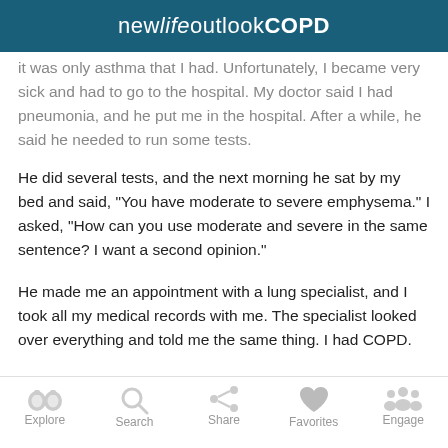newlifeoutlookCOPD
it was only asthma that I had. Unfortunately, I became very sick and had to go to the hospital. My doctor said I had pneumonia, and he put me in the hospital. After a while, he said he needed to run some tests.
He did several tests, and the next morning he sat by my bed and said, "You have moderate to severe emphysema." I asked, "How can you use moderate and severe in the same sentence? I want a second opinion."
He made me an appointment with a lung specialist, and I took all my medical records with me. The specialist looked over everything and told me the same thing. I had COPD.
In 2011, when I stopped working and started walking and
Explore  Search  Share  Favorites  Engage